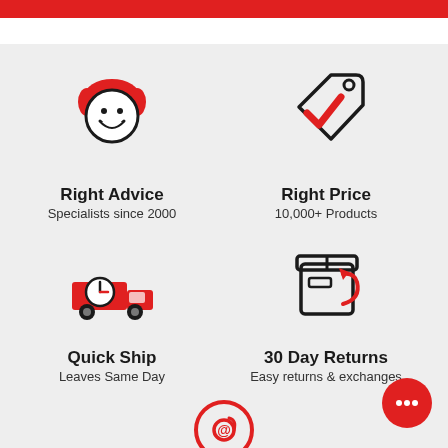[Figure (infographic): Red horizontal bar at top of page]
[Figure (illustration): Happy face icon with red hair - Right Advice]
Right Advice
Specialists since 2000
[Figure (illustration): Price tag icon with red checkmark - Right Price]
Right Price
10,000+ Products
[Figure (illustration): Red delivery truck with clock icon - Quick Ship]
Quick Ship
Leaves Same Day
[Figure (illustration): Box with red return arrow icon - 30 Day Returns]
30 Day Returns
Easy returns & exchanges
[Figure (illustration): Red chat bubble with dots - contact button]
[Figure (illustration): Red email/envelope with @ symbol at bottom]